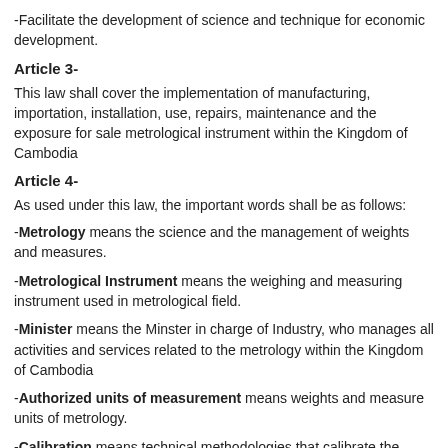-Facilitate the development of science and technique for economic development.
Article 3-
This law shall cover the implementation of manufacturing, importation, installation, use, repairs, maintenance and the exposure for sale metrological instrument within the Kingdom of Cambodia
Article 4-
As used under this law, the important words shall be as follows:
-Metrology means the science and the management of weights and measures.
-Metrological Instrument means the weighing and measuring instrument used in metrological field.
-Minister means the Minster in charge of Industry, who manages all activities and services related to the metrology within the Kingdom of Cambodia
-Authorized units of measurement means weights and measure units of metrology.
-Calibration means technical methodologies that calibrate the